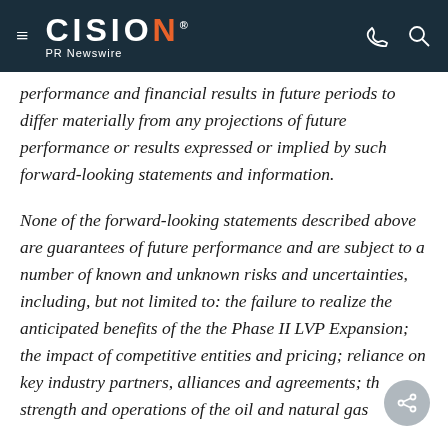CISION PR Newswire
performance and financial results in future periods to differ materially from any projections of future performance or results expressed or implied by such forward-looking statements and information.
None of the forward-looking statements described above are guarantees of future performance and are subject to a number of known and unknown risks and uncertainties, including, but not limited to: the failure to realize the anticipated benefits of the the Phase II LVP Expansion; the impact of competitive entities and pricing; reliance on key industry partners, alliances and agreements; th strength and operations of the oil and natural gas